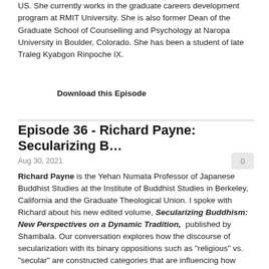US. She currently works in the graduate careers development program at RMIT University. She is also former Dean of the Graduate School of Counselling and Psychology at Naropa University in Boulder, Colorado. She has been a student of late Traleg Kyabgon Rinpoche IX.
Download this Episode
Episode 36 - Richard Payne: Secularizing B…
Aug 30, 2021
Richard Payne is the Yehan Numata Professor of Japanese Buddhist Studies at the Institute of Buddhist Studies in Berkeley, California and the Graduate Theological Union. I spoke with Richard about his new edited volume, Secularizing Buddhism: New Perspectives on a Dynamic Tradition, published by Shambala. Our conversation explores how the discourse of secularization with its binary oppositions such as "religious" vs. "secular" are constructed categories that are influencing how modern people are understanding Secular Buddhism. Richard explains how the legacy of Protestant theological ideas are overlayed on what we now view as "modern" Buddhism, as well as how so-called "traditional" Buddhism is a response to such modernization.